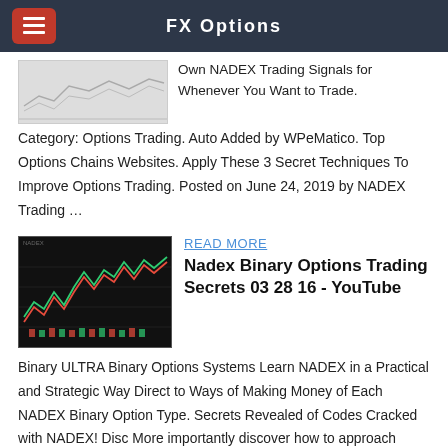FX Options
[Figure (screenshot): Small chart/graph thumbnail image at top left, partially cropped]
Own NADEX Trading Signals for Whenever You Want to Trade. Category: Options Trading. Auto Added by WPeMatico. Top Options Chains Websites. Apply These 3 Secret Techniques To Improve Options Trading. Posted on June 24, 2019 by NADEX Trading …
[Figure (screenshot): Screenshot of a trading chart with red and green candlestick lines on dark background]
READ MORE
Nadex Binary Options Trading Secrets 03 28 16 - YouTube
Binary ULTRA Binary Options Systems Learn NADEX in a Practical and Strategic Way Direct to Ways of Making Money of Each NADEX Binary Option Type. Secrets Revealed of Codes Cracked with NADEX! Disc More importantly discover how to approach trading NADEX specifically for profit.